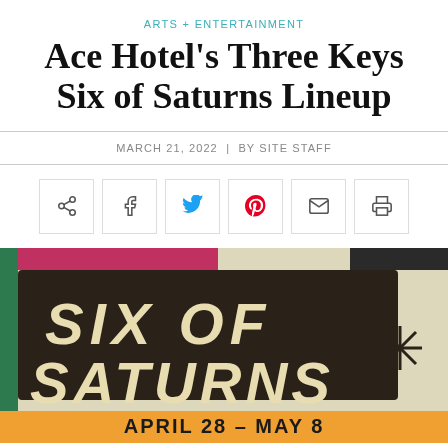ARTS + ENTERTAINMENT
Ace Hotel's Three Keys Six of Saturns Lineup
MARCH 21, 2022  |  BY SITE STAFF
[Figure (illustration): Event poster for 'Six of Saturns' at Ace Hotel showing bold retro-style text 'SIX OF SATURNS' on dark brown background with cream lettering, decorative asterisk/star burst, pink and green accents, and 'APRIL 28 - MAY 8' on orange banner at bottom]